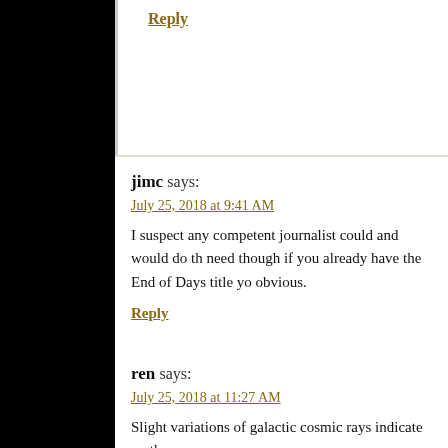Reply
jimc says:
July 25, 2018 at 9:41 AM
I suspect any competent journalist could and would do th need though if you already have the End of Days title yo obvious.
Reply
ren says:
July 25, 2018 at 11:27 AM
Slight variations of galactic cosmic rays indicate on the so
https://cosmicrays.oulu.fi/webform/monitor.gif
Reply